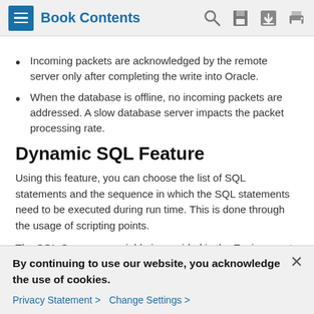Book Contents
Incoming packets are acknowledged by the remote server only after completing the write into Oracle.
When the database is offline, no incoming packets are addressed. A slow database server impacts the packet processing rate.
Dynamic SQL Feature
Using this feature, you can choose the list of SQL statements and the sequence in which the SQL statements need to be executed during run time. This is done through the usage of scripting points.
The SQL-Sequence variable is provided in the Environment Dictionary and it takes the list of SQL statement names and
By continuing to use our website, you acknowledge the use of cookies.
Privacy Statement > Change Settings >